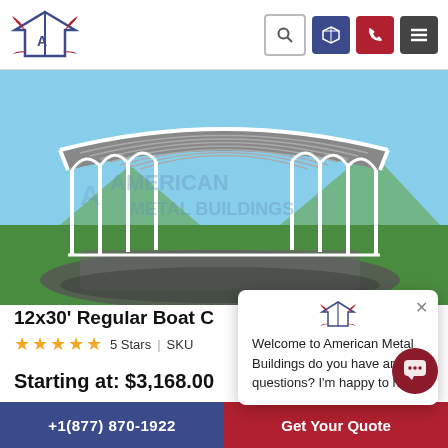American Metal Buildings header with logo and navigation icons: search, 3D view, phone, menu
[Figure (photo): A white metal carport/boat cover structure with curved roof and open sides, shown in a 3D render on green grass background with sky. Watermark text: AMERICAN METAL BUILDINGS]
12x30' Regular Boat C
5 Stars | SKU
Starting at: $3,168.00
[Figure (other): Chat popup window with American Metal Buildings eagle logo. Text: Welcome to American Metal Buildings do you have any questions? I'm happy to help.]
+1(877) 870-1922 | Get Your Quote